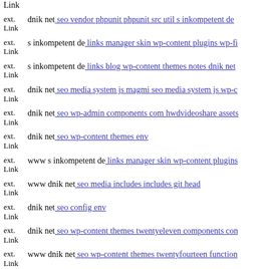ext. Link Link
ext. Link dnik net: seo vendor phpunit phpunit src util s inkompetent de
ext. Link s inkompetent de: links manager skin wp-content plugins wp-fi
ext. Link s inkompetent de: links blog wp-content themes notes dnik net
ext. Link dnik net: seo media system js magmi seo media system js wp-c
ext. Link dnik net: seo wp-admin components com hwdvideoshare assets
ext. Link dnik net: seo wp-content themes env
ext. Link www s inkompetent de: links manager skin wp-content plugins
ext. Link www dnik net: seo media includes includes git head
ext. Link dnik net: seo config env
ext. Link dnik net: seo wp-content themes twentyeleven components con
ext. Link www dnik net: seo wp-content themes twentyfourteen function